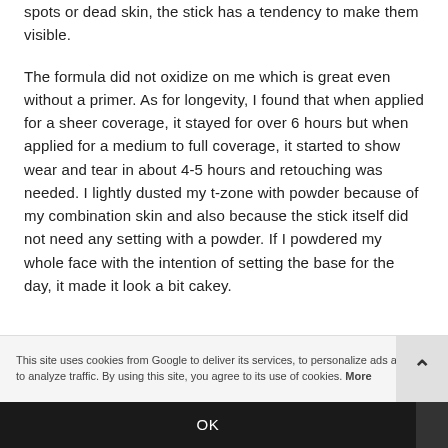spots or dead skin, the stick has a tendency to make them visible.
The formula did not oxidize on me which is great even without a primer. As for longevity, I found that when applied for a sheer coverage, it stayed for over 6 hours but when applied for a medium to full coverage, it started to show wear and tear in about 4-5 hours and retouching was needed. I lightly dusted my t-zone with powder because of my combination skin and also because the stick itself did not need any setting with a powder. If I powdered my whole face with the intention of setting the base for the day, it made it look a bit cakey.
This site uses cookies from Google to deliver its services, to personalize ads and to analyze traffic. By using this site, you agree to its use of cookies. More
OK